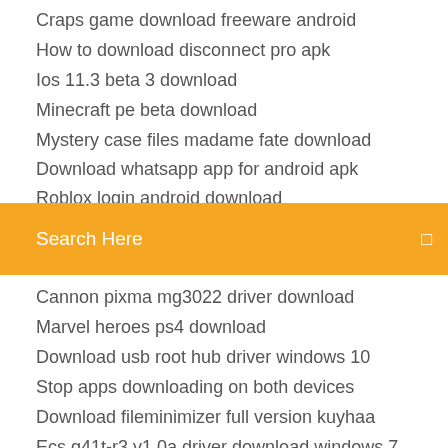Craps game download freeware android
How to download disconnect pro apk
Ios 11.3 beta 3 download
Minecraft pe beta download
Mystery case files madame fate download
Download whatsapp app for android apk
Roblox login android download (partial)
[Figure (screenshot): Orange search bar with text 'Search Here' and a small icon on the right]
Cannon pixma mg3022 driver download
Marvel heroes ps4 download
Download usb root hub driver windows 10
Stop apps downloading on both devices
Download fileminimizer full version kuyhaa
Ecs g41t-r3 v1.0a driver download windows 7
Olympus vn 4100pc driver download windows 10
Google app store asus download
Batch file to download image set
Gameboy emulator android download